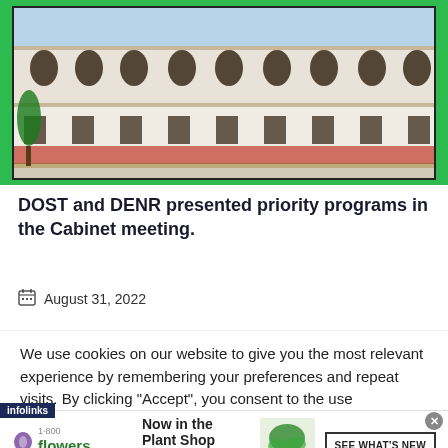[Figure (photo): Photograph of a white colonial-style government building with arched windows and decorative facade, shown inside a green-bordered frame]
DOST and DENR presented priority programs in the Cabinet meeting.
August 31, 2022
We use cookies on our website to give you the most relevant experience by remembering your preferences and repeat visits. By clicking “Accept”, you consent to the use
[Figure (infographic): infolinks advertisement banner for 1-800-flowers.com: Now in the Plant Shop - Fresh picks for summer, with plant photo and SEE WHAT'S NEW button]